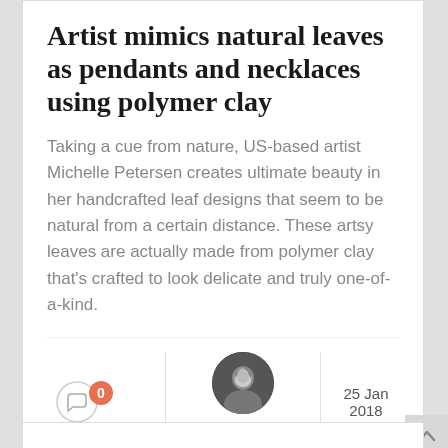Artist mimics natural leaves as pendants and necklaces using polymer clay
Taking a cue from nature, US-based artist Michelle Petersen creates ultimate beauty in her handcrafted leaf designs that seem to be natural from a certain distance. These artsy leaves are actually made from polymer clay that’s crafted to look delicate and truly one-of-a-kind.
25 Jan 2018
Monika Thakur